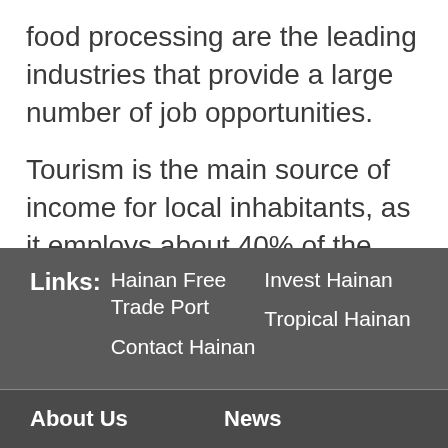food processing are the leading industries that provide a large number of job opportunities.
Tourism is the main source of income for local inhabitants, as it employs about 40% of the workforce. According to a survey, 80% of the tourists to Sri Lanka choose Southern Province as their destination to enjoy the beautiful beaches and historical sites.
Links: Hainan Free Trade Port | Invest Hainan | Contact Hainan | Tropical Hainan
About Us | News